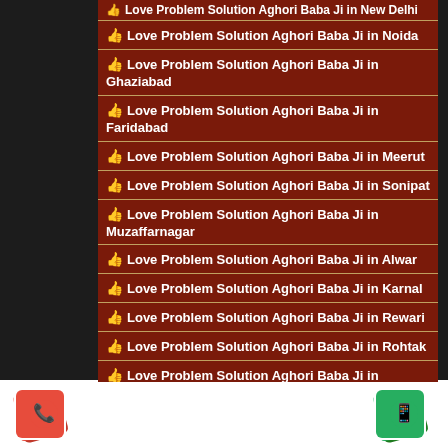Love Problem Solution Aghori Baba Ji in New Delhi
Love Problem Solution Aghori Baba Ji in Noida
Love Problem Solution Aghori Baba Ji in Ghaziabad
Love Problem Solution Aghori Baba Ji in Faridabad
Love Problem Solution Aghori Baba Ji in Meerut
Love Problem Solution Aghori Baba Ji in Sonipat
Love Problem Solution Aghori Baba Ji in Muzaffarnagar
Love Problem Solution Aghori Baba Ji in Alwar
Love Problem Solution Aghori Baba Ji in Karnal
Love Problem Solution Aghori Baba Ji in Rewari
Love Problem Solution Aghori Baba Ji in Rohtak
Love Problem Solution Aghori Baba Ji in Bharapur
Love Problem Solution Aghori Baba Ji in Panipat
[Figure (illustration): Phone call icon (red background with rotated squares), WhatsApp icon (green background with rotated squares)]